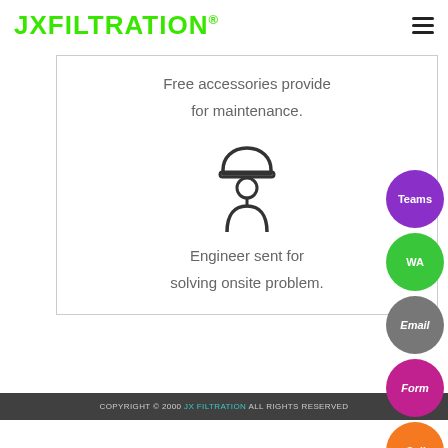JXFILTRATION®
Free accessories provide for maintenance.
[Figure (illustration): Engineer/worker icon — a person silhouette wearing a hard hat]
Engineer sent for solving onsite problem.
COPYRIGHT © 2000 JX FILTRATION ALL RIGHTS RESERVED